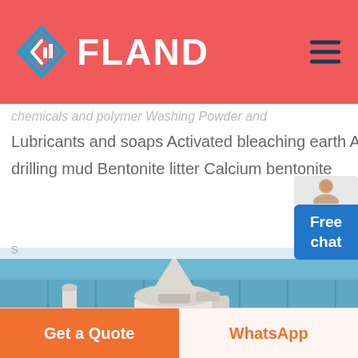FLAND
Lubricants and soaps Activated bleaching earth Activated fuller earth Activated clay Bentonite drilling mud Bentonite litter Calcium bentonite
[Figure (photo): Industrial milling equipment inside a factory building with white machinery, pipes, and a blue/teal corrugated metal wall in the background.]
Get a Quote | WhatsApp